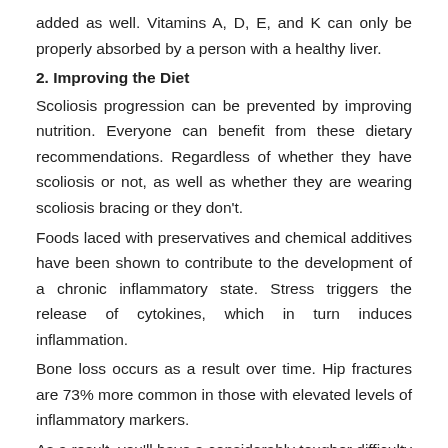added as well. Vitamins A, D, E, and K can only be properly absorbed by a person with a healthy liver.
2. Improving the Diet
Scoliosis progression can be prevented by improving nutrition. Everyone can benefit from these dietary recommendations. Regardless of whether they have scoliosis or not, as well as whether they are wearing scoliosis bracing or they don't.
Foods laced with preservatives and chemical additives have been shown to contribute to the development of a chronic inflammatory state. Stress triggers the release of cytokines, which in turn induces inflammation.
Bone loss occurs as a result over time. Hip fractures are 73% more common in those with elevated levels of inflammatory markers.
As a result, you'll have a considerably tougher difficulty keeping the spine in place if you've exhausted your muscles or have been wearing scoliosis bracing for a long time.